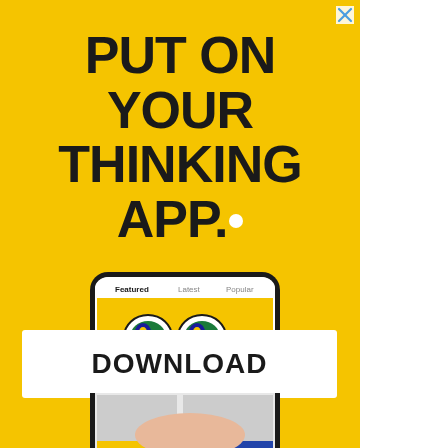[Figure (illustration): Advertisement with yellow background. Large bold black text reads PUT ON YOUR THINKING APP. with a white dot after APP. Below the text is a hand holding a smartphone showing an app interface with Featured, Latest, Popular tabs and a yellow background image of glasses. At the bottom is a white Download button. A small X close button appears in the top right corner.]
PUT ON YOUR THINKING APP.
DOWNLOAD